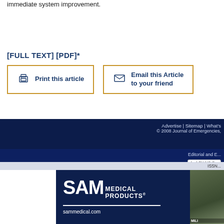immediate system improvement.
[FULL TEXT] [PDF]*
Print this article
Email this Article to your friend
Advertise | Sitemap | What's ... © 2008 Journal of Emergencies... Editorial and E... (cc) BY-NC-S... ISSN...
[Figure (other): SAM Medical Products advertisement banner with logo and sammedical.com URL]